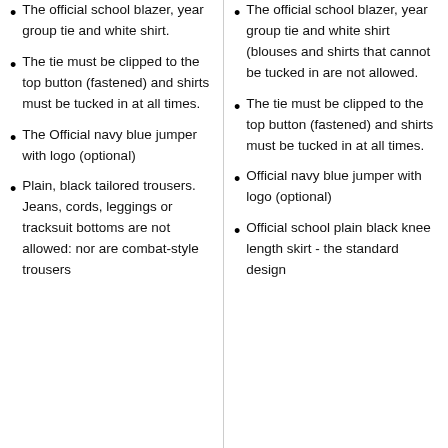The official school blazer, year group tie and white shirt.
The tie must be clipped to the top button (fastened) and shirts must be tucked in at all times.
The Official navy blue jumper with logo (optional)
Plain, black tailored trousers. Jeans, cords, leggings or tracksuit bottoms are not allowed: nor are combat-style trousers
The official school blazer, year group tie and white shirt (blouses and shirts that cannot be tucked in are not allowed.
The tie must be clipped to the top button (fastened) and shirts must be tucked in at all times.
Official navy blue jumper with logo (optional)
Official school plain black knee length skirt - the standard design